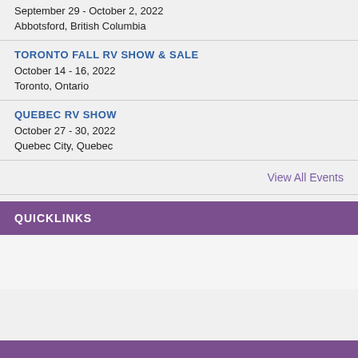September 29 - October 2, 2022
Abbotsford, British Columbia
TORONTO FALL RV SHOW & SALE
October 14 - 16, 2022
Toronto, Ontario
QUEBEC RV SHOW
October 27 - 30, 2022
Quebec City, Quebec
View All Events
QUICKLINKS